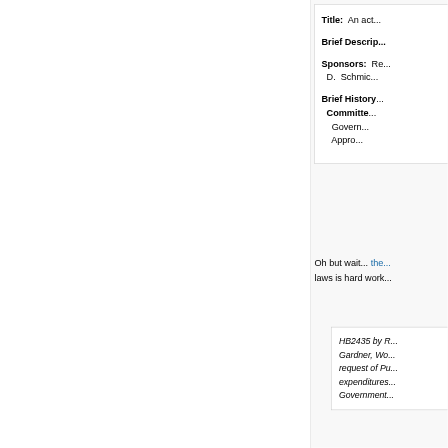Title: An act...
Brief Description:
Sponsors: Re... D. Schmid...
Brief History: Committee: Govern... Appro...
Oh but wait... the... laws is hard work...
HB2435 by R... Gardner, Wo... request of Pu... expenditures... Government...